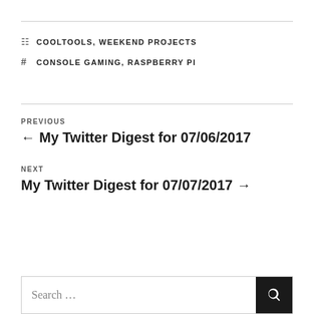COOLTOOLS, WEEKEND PROJECTS
CONSOLE GAMING, RASPBERRY PI
PREVIOUS
← My Twitter Digest for 07/06/2017
NEXT
My Twitter Digest for 07/07/2017 →
Search …